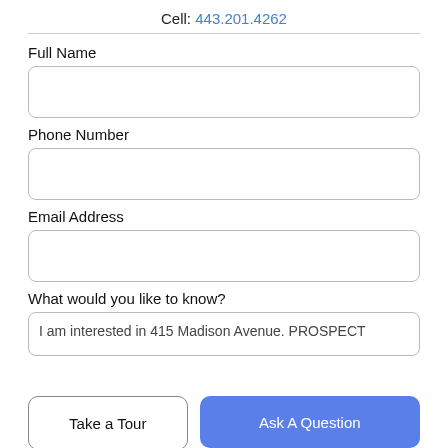Cell: 443.201.4262
Full Name
Phone Number
Email Address
What would you like to know?
I am interested in 415 Madison Avenue. PROSPECT
Take a Tour
Ask A Question